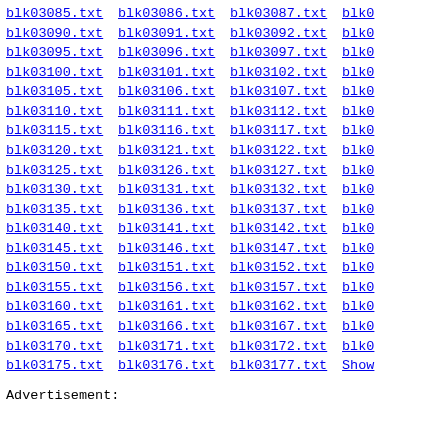blk03085.txt blk03086.txt blk03087.txt blk0...
Advertisement: